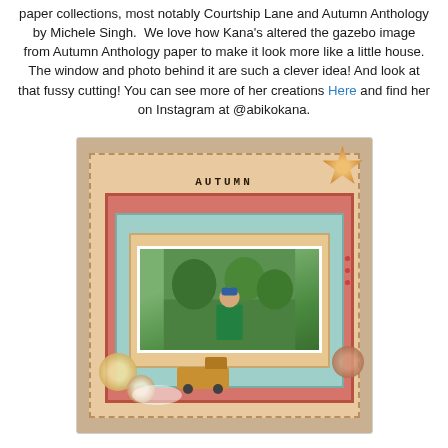paper collections, most notably Courtship Lane and Autumn Anthology by Michele Singh.  We love how Kana's altered the gazebo image from Autumn Anthology paper to make it look more like a little house. The window and photo behind it are such a clever idea! And look at that fussy cutting! You can see more of her creations Here and find her on Instagram at @abikokana.
[Figure (photo): A colorful autumn-themed scrapbook layout featuring a child/boy in a green shirt, surrounded by layered decorative papers in red, teal, and gold tones, with flower embellishments, a vintage yellow truck, and the word AUTUMN at the top.]